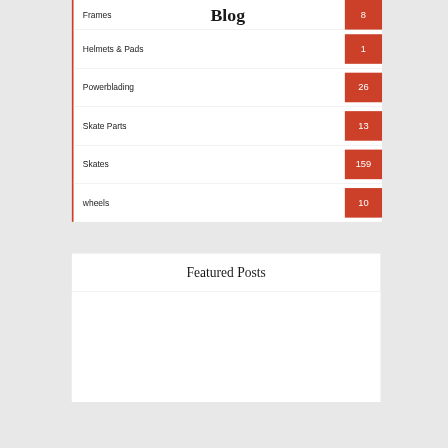Blog
Frames 8
Helmets & Pads 1
Powerblading 26
Skate Parts 13
Skates 159
wheels 10
Featured Posts